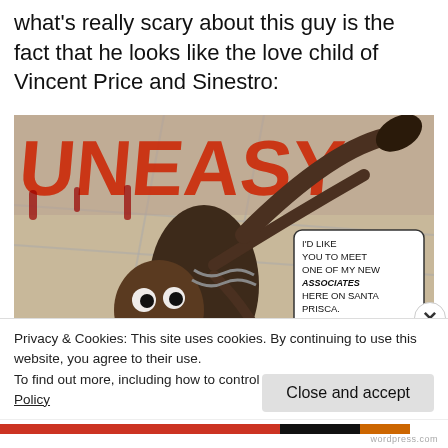what's really scary about this guy is the fact that he looks like the love child of Vincent Price and Sinestro:
[Figure (illustration): Comic book panel showing a villain character leaping/flying with speech bubbles reading: 'I'D LIKE YOU TO MEET ONE OF MY NEW ASSOCIATES HERE ON SANTA PRISCA. WOLF-SPIDER WOULD YOU DO ME THE HONOR RIPPING MR. RO APART?' with the word UNEASY in large red letters in the background]
Privacy & Cookies: This site uses cookies. By continuing to use this website, you agree to their use.
To find out more, including how to control cookies, see here: Cookie Policy